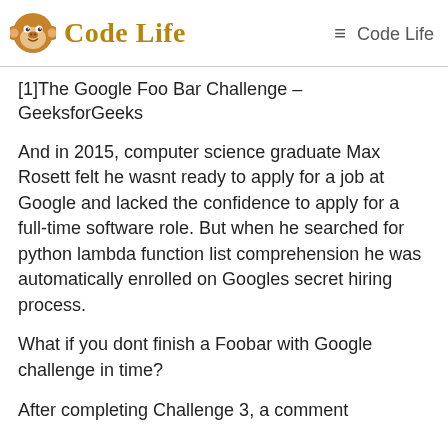Code Life  ☰ Code Life
[1]The Google Foo Bar Challenge – GeeksforGeeks
And in 2015, computer science graduate Max Rosett felt he wasnt ready to apply for a job at Google and lacked the confidence to apply for a full-time software role. But when he searched for python lambda function list comprehension he was automatically enrolled on Googles secret hiring process.
What if you dont finish a Foobar with Google challenge in time?
After completing Challenge 3, a comment